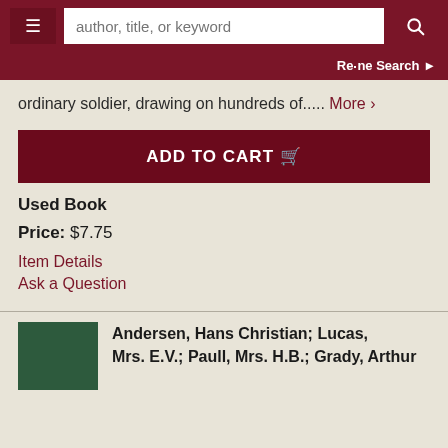author, title, or keyword [search bar] | Refine Search
ordinary soldier, drawing on hundreds of..... More >
ADD TO CART
Used Book
Price: $7.75
Item Details
Ask a Question
Andersen, Hans Christian; Lucas, Mrs. E.V.; Paull, Mrs. H.B.; Grady, Arthur...